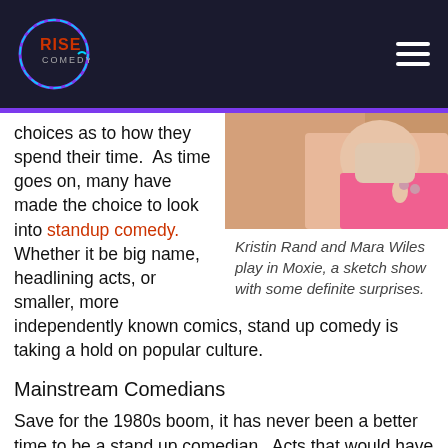Rise Comedy
choices as to how they spend their time.  As time goes on, many have made the choice to look into standup comedy.  Whether it be big name, headlining acts, or smaller, more independently known comics, stand up comedy is taking a hold on popular culture.
[Figure (photo): Close-up photo of a person wearing a pink shirt]
Kristin Rand and Mara Wiles play in Moxie, a sketch show with some definite surprises.
Mainstream Comedians
Save for the 1980s boom, it has never been a better time to be a stand up comedian.  Acts that would have been niche just a few years ago have made a jump to mainstream